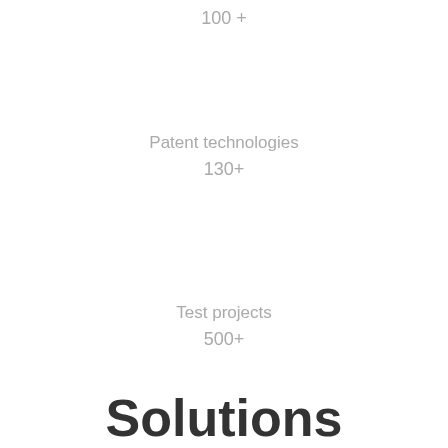100 +
Patent technologies
130+
Test projects
500+
Solutions